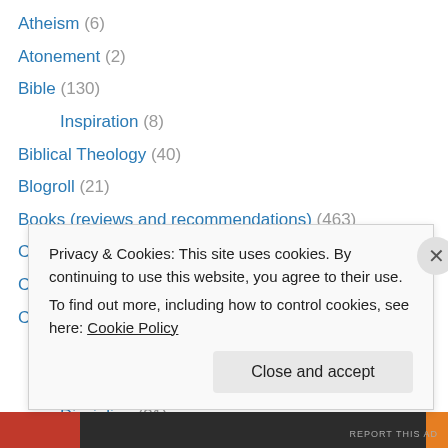Atheism (6)
Atonement (2)
Bible (130)
Inspiration (8)
Biblical Theology (40)
Blogroll (21)
Books (reviews and recommendations) (463)
Cessationism (1)
Christology (47)
Church (328)
Baptism (45)
Communion (47)
Discipline (31)
Privacy & Cookies: This site uses cookies. By continuing to use this website, you agree to their use. To find out more, including how to control cookies, see here: Cookie Policy
Close and accept